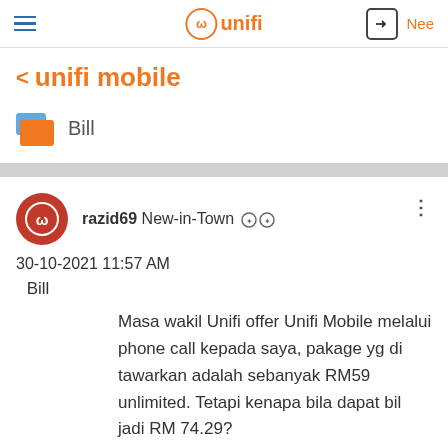unifi mobile
Bill
razid69 New-in-Town
30-10-2021 11:57 AM
Bill
Masa wakil Unifi offer Unifi Mobile melalui phone call kepada saya, pakage yg di tawarkan adalah sebanyak RM59 unlimited. Tetapi kenapa bila dapat bil jadi RM 74.29?